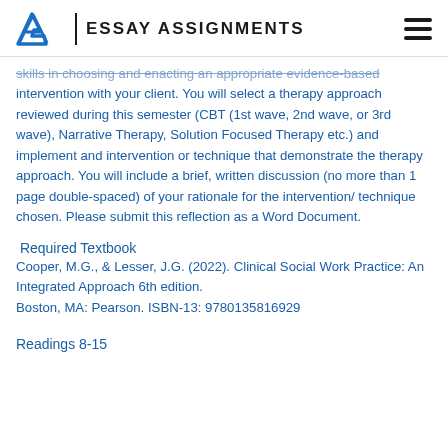EA | ESSAY ASSIGNMENTS
skills in choosing and enacting an appropriate evidence-based intervention with your client. You will select a therapy approach reviewed during this semester (CBT (1st wave, 2nd wave, or 3rd wave), Narrative Therapy, Solution Focused Therapy etc.) and implement and intervention or technique that demonstrate the therapy approach. You will include a brief, written discussion (no more than 1 page double-spaced) of your rationale for the intervention/ technique chosen. Please submit this reflection as a Word Document.
Required Textbook
Cooper, M.G., & Lesser, J.G. (2022). Clinical Social Work Practice: An Integrated Approach 6th edition.
Boston, MA: Pearson. ISBN-13: 9780135816929
Readings 8-15